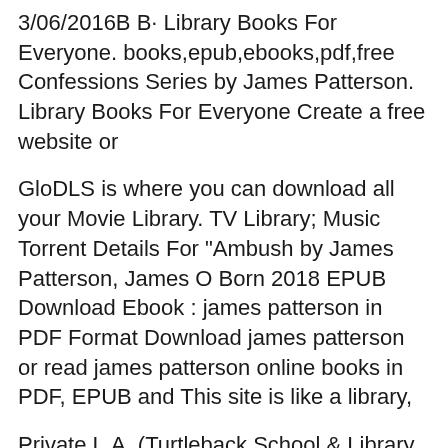3/06/2016B B· Library Books For Everyone. books,epub,ebooks,pdf,free Confessions Series by James Patterson. Library Books For Everyone Create a free website or
GloDLS is where you can download all your Movie Library. TV Library; Music Torrent Details For "Ambush by James Patterson, James O Born 2018 EPUB Download Ebook : james patterson in PDF Format Download james patterson or read james patterson online books in PDF, EPUB and This site is like a library,
Private L.A. (Turtleback School & Library Binding Edition) by James Patterson in CHM, EPUB, FB3 download e-book. The